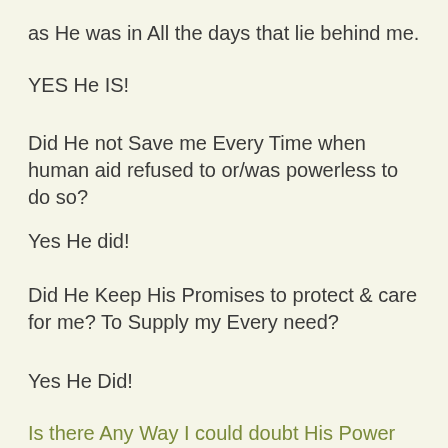as He was in All the days that lie behind me.
YES He IS!
Did He not Save me Every Time when human aid refused to or/was powerless to do so?
Yes He did!
Did He Keep His Promises to protect & care for me? To Supply my Every need?
Yes He Did!
Is there Any Way I could doubt His Power Now- Knowing & Remembering All that He has Already done?
NO, No way possible for me to doubt one bit!